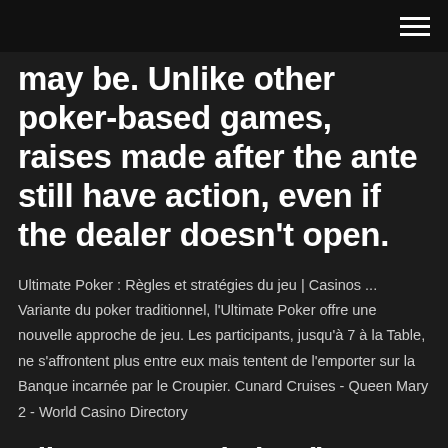may be. Unlike other poker-based games, raises made after the ante still have action, even if the dealer doesn't open.
Ultimate Poker : Règles et stratégies du jeu | Casinos ... Variante du poker traditionnel, l'Ultimate Poker offre une nouvelle approche de jeu. Les participants, jusqu'à 7 à la Table, ne s'affrontent plus entre eux mais tentent de l'emporter sur la Banque incarnée par le Croupier. Cunard Cruises - Queen Mary 2 - World Casino Directory
Ellos son regulados (lo que significa que sus depósitos y las ganancias son seguros) y sus pagos son instantáneos